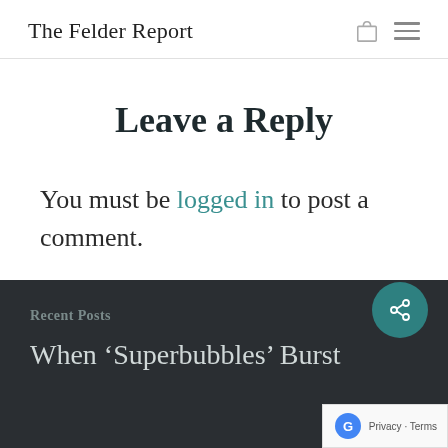The Felder Report
Leave a Reply
You must be logged in to post a comment.
Recent Posts
When ‘Superbubbles’ Burst